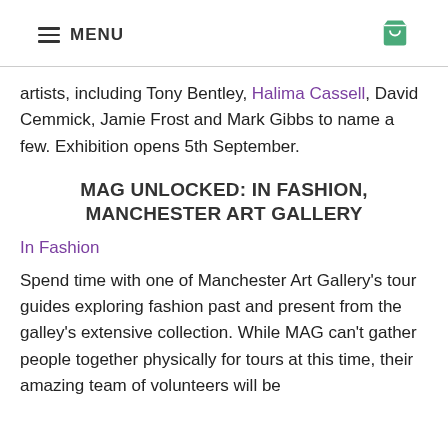MENU [cart icon]
artists, including Tony Bentley, Halima Cassell, David Cemmick, Jamie Frost and Mark Gibbs to name a few. Exhibition opens 5th September.
MAG UNLOCKED: IN FASHION, MANCHESTER ART GALLERY
In Fashion
Spend time with one of Manchester Art Gallery's tour guides exploring fashion past and present from the galley's extensive collection. While MAG can't gather people together physically for tours at this time, their amazing team of volunteers will be